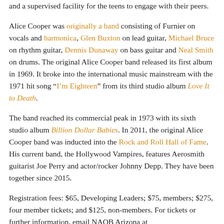and a supervised facility for the teens to engage with their peers.
Alice Cooper was originally a band consisting of Furnier on vocals and harmonica, Glen Buxton on lead guitar, Michael Bruce on rhythm guitar, Dennis Dunaway on bass guitar and Neal Smith on drums. The original Alice Cooper band released its first album in 1969. It broke into the international music mainstream with the 1971 hit song "I'm Eighteen" from its third studio album Love It to Death.
The band reached its commercial peak in 1973 with its sixth studio album Billion Dollar Babies. In 2011, the original Alice Cooper band was inducted into the Rock and Roll Hall of Fame. His current band, the Hollywood Vampires, features Aerosmith guitarist Joe Perry and actor/rocker Johnny Depp. They have been together since 2015.
Registration fees: $65, Developing Leaders; $75, members; $275, four member tickets; and $125, non-members. For tickets or further information, email NAOB Arizona at